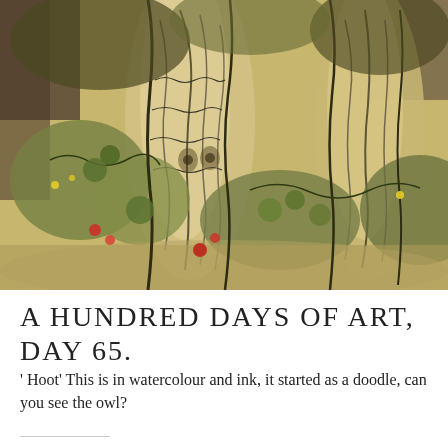[Figure (illustration): Watercolour and ink artwork titled 'Hoot' showing an abstract woodland scene with tree trunks, foliage, and hidden owl figure. Painted in yellows, greens, browns and blacks with swirling ink outlines over watercolour washes. Red flower accents visible in lower portion.]
A HUNDRED DAYS OF ART, DAY 65.
' Hoot' This is in watercolour and ink, it started as a doodle, can you see the owl?